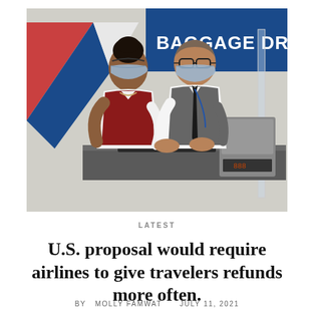[Figure (photo): Two airport workers wearing blue surgical masks stand at a baggage drop counter. A woman in a red vest and white blouse stands to the left; a man in a gray vest, white shirt, and dark tie stands to the right, typing on a keyboard. In the background is a large blue sign reading 'BAGGAGE DROP' and a red and blue geometric wall graphic.]
LATEST
U.S. proposal would require airlines to give travelers refunds more often.
By MOLLY FAMWAT   July 11, 2021